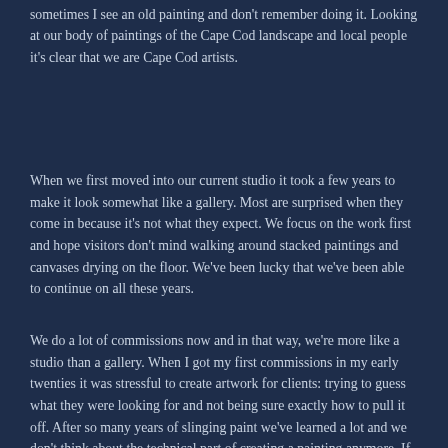years, including covert coffee shop and beach sketches that sometimes I see an old painting and don't remember doing it. Looking at our body of paintings of the Cape Cod landscape and local people it's clear that we are Cape Cod artists.
When we first moved into our current studio it took a few years to make it look somewhat like a gallery. Most are surprised when they come in because it's not what they expect. We focus on the work first and hope visitors don't mind walking around stacked paintings and canvases drying on the floor. We've been lucky that we've been able to continue on all these years.
We do a lot of commissions now and in that way, we're more like a studio than a gallery. When I got my first commissions in my early twenties it was stressful to create artwork for clients: trying to guess what they were looking for and not being sure exactly how to pull it off. After so many years of slinging paint we've learned a lot and we don't think about the technical part of creating a painting anymore. If we can visualize it, we can do it and when it comes to commissions we try to make clear ahead of time what the final painting will look like. I have to say, now, that it's always a pleasant experience creating a custom